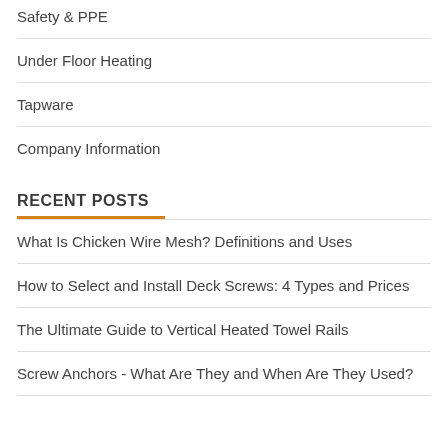Safety & PPE
Under Floor Heating
Tapware
Company Information
RECENT POSTS
What Is Chicken Wire Mesh? Definitions and Uses
How to Select and Install Deck Screws: 4 Types and Prices
The Ultimate Guide to Vertical Heated Towel Rails
Screw Anchors - What Are They and When Are They Used?